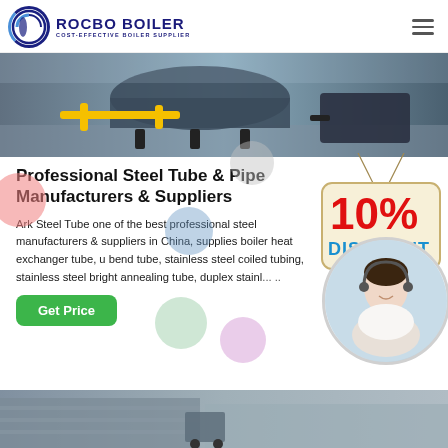ROCBO BOILER | COST-EFFECTIVE BOILER SUPPLIER
[Figure (photo): Industrial boiler equipment with yellow piping in a factory setting]
Professional Steel Tube & Pipe Manufacturers & Suppliers
Ark Steel Tube one of the best professional steel manufacturers & suppliers in China, supplies boiler heat exchanger tube, u bend tube, stainless steel coiled tubing, stainless steel bright annealing tube, duplex stainl... ..
[Figure (photo): 10% DISCOUNT badge hanging on a string]
[Figure (photo): Customer service agent woman with headset smiling]
[Figure (photo): Industrial/warehouse building exterior at bottom of page]